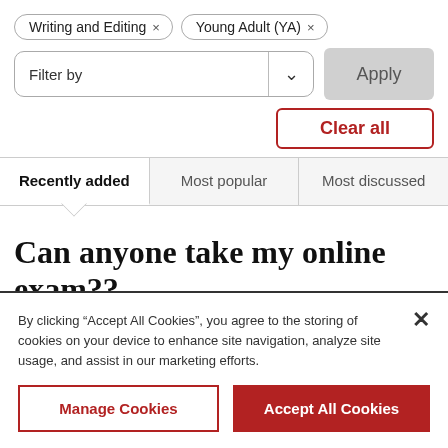Writing and Editing ×
Young Adult (YA) ×
Filter by
Apply
Clear all
Recently added
Most popular
Most discussed
Can anyone take my online exam??
By clicking “Accept All Cookies”, you agree to the storing of cookies on your device to enhance site navigation, analyze site usage, and assist in our marketing efforts.
Manage Cookies
Accept All Cookies